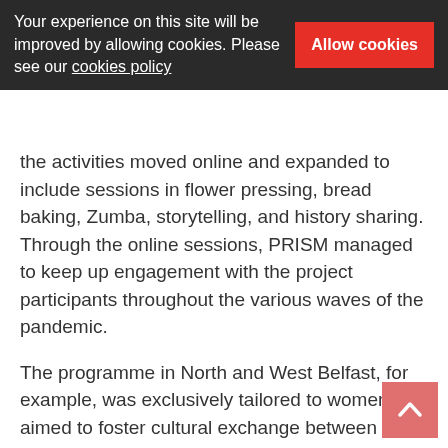Your experience on this site will be improved by allowing cookies. Please see our cookies policy   Allow cookies
the activities moved online and expanded to include sessions in flower pressing, bread baking, Zumba, storytelling, and history sharing. Through the online sessions, PRISM managed to keep up engagement with the project participants throughout the various waves of the pandemic.
The programme in North and West Belfast, for example, was exclusively tailored to women and aimed to foster cultural exchange between communities. While the sessions had a quiet start with shy participants, everyone slowly opened up: “During the programme they were able to relax and get involved in